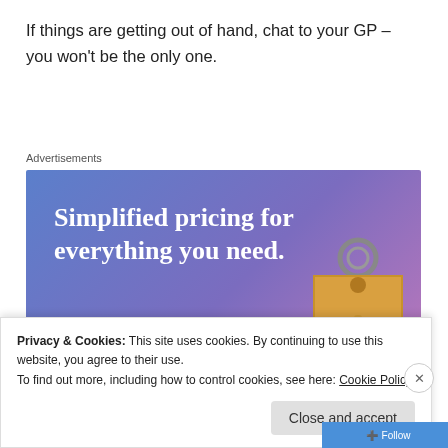If things are getting out of hand, chat to your GP – you won't be the only one.
Advertisements
[Figure (illustration): Advertisement banner with gradient blue-purple-pink background showing text 'Simplified pricing for everything you need.' with a pink 'Build Your Website' button and a tan price tag graphic on the right.]
Privacy & Cookies: This site uses cookies. By continuing to use this website, you agree to their use.
To find out more, including how to control cookies, see here: Cookie Policy
Close and accept